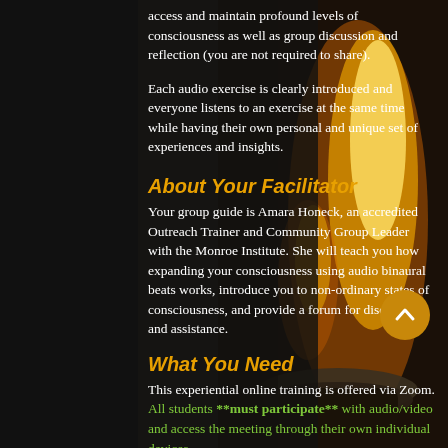access and maintain profound levels of consciousness as well as group discussion and reflection (you are not required to share).
Each audio exercise is clearly introduced and everyone listens to an exercise at the same time while having their own personal and unique set of experiences and insights.
About Your Facilitator
Your group guide is Amara Honeck, an accredited Outreach Trainer and Community Group Leader with the Monroe Institute. She will teach you how expanding your consciousness using audio binaural beats works, introduce you to non-ordinary states of consciousness, and provide a forum for discussion and assistance.
What You Need
This experiential online training is offered via Zoom. All students **must participate** with audio/video and access the meeting through their own individual devices.
Please have the following items for the